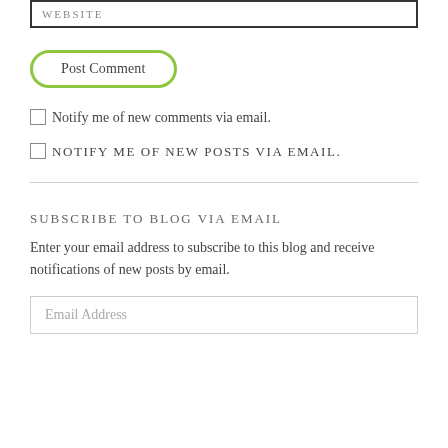WEBSITE
Post Comment
Notify me of new comments via email.
NOTIFY ME OF NEW POSTS VIA EMAIL.
SUBSCRIBE TO BLOG VIA EMAIL
Enter your email address to subscribe to this blog and receive notifications of new posts by email.
Email Address